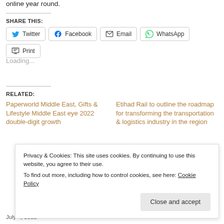online year round.
SHARE THIS:
Twitter  Facebook  Email  WhatsApp  Print
Loading...
RELATED:
Paperworld Middle East, Gifts & Lifestyle Middle East eye 2022 double-digit growth
Etihad Rail to outline the roadmap for transforming the transportation & logistics industry in the region
Privacy & Cookies: This site uses cookies. By continuing to use this website, you agree to their use.
To find out more, including how to control cookies, see here: Cookie Policy
July 4, 2022